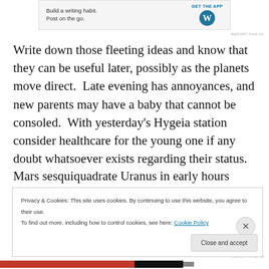[Figure (other): WordPress app advertisement banner with text 'Build a writing habit. Post on the go.' and 'GET THE APP' with WordPress logo]
REPORT THIS AD
Write down those fleeting ideas and know that they can be useful later, possibly as the planets move direct.  Late evening has annoyances, and new parents may have a baby that cannot be consoled.  With yesterday's Hygeia station consider healthcare for the young one if any doubt whatsoever exists regarding their status.
Mars sesquiquadrate Uranus in early hours makes both yesterday and today potentially dangerous.  Do not do
Privacy & Cookies: This site uses cookies. By continuing to use this website, you agree to their use.
To find out more, including how to control cookies, see here: Cookie Policy
Close and accept
REPORT THIS AD